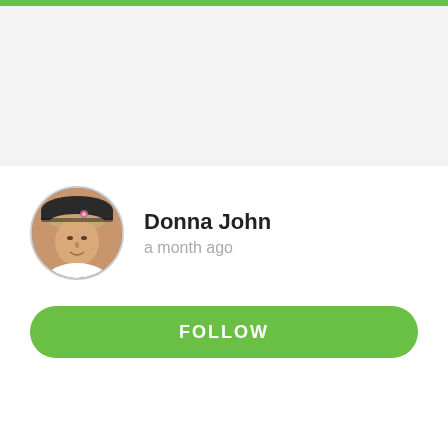[Figure (photo): Profile photo of a woman wearing a dark cap, circular avatar]
Donna John
a month ago
FOLLOW